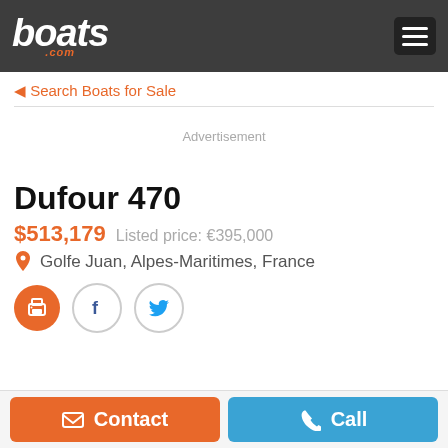boats.com
Search Boats for Sale
Advertisement
Dufour 470
$513,179   Listed price: €395,000
Golfe Juan, Alpes-Maritimes, France
Contact   Call